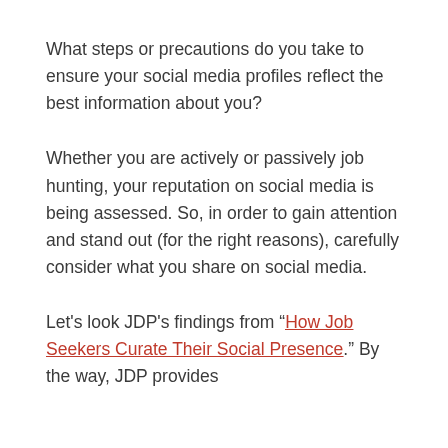What steps or precautions do you take to ensure your social media profiles reflect the best information about you?
Whether you are actively or passively job hunting, your reputation on social media is being assessed. So, in order to gain attention and stand out (for the right reasons), carefully consider what you share on social media.
Let's look JDP's findings from "How Job Seekers Curate Their Social Presence." By the way, JDP provides